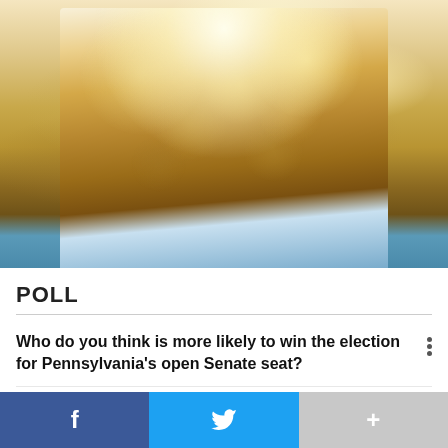[Figure (photo): Close-up photo of a baked oat bar or rice crispy treat with white glaze/icing on top, sitting on a blue surface]
POLL
Who do you think is more likely to win the election for Pennsylvania's open Senate seat?
Mehmet Oz (R)
f  [Twitter bird]  +